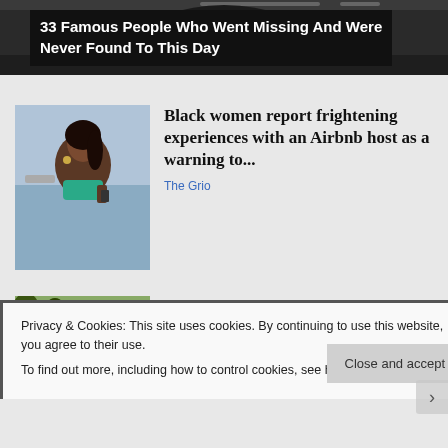[Figure (photo): Dark background photo at top of webpage]
33 Famous People Who Went Missing And Were Never Found To This Day
[Figure (photo): Young Black woman in green bikini top at beach holding a phone]
Black women report frightening experiences with an Airbnb host as a warning to...
The Grio
[Figure (photo): Outdoor scene with trees and a building]
Congress Finally Passes Billions for Camp Lejeune Families
Privacy & Cookies: This site uses cookies. By continuing to use this website, you agree to their use.
To find out more, including how to control cookies, see here: Cookie Policy
Close and accept